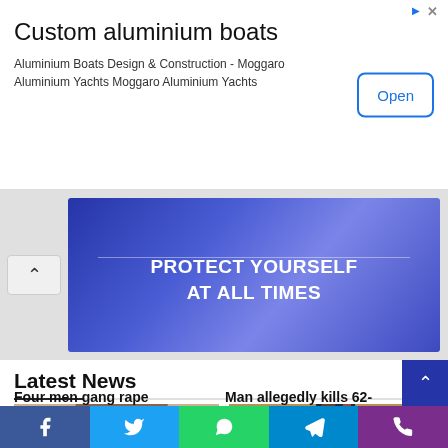[Figure (screenshot): Advertisement banner for Custom aluminium boats with Open button]
[Figure (infographic): Blue promotional banner reading PROTECT YOURSELF AT ALL TIMES]
Latest News
[Figure (photo): Photo of a person bowing head, related to gang rape news story]
[Figure (photo): Photo of a person holding a machete, related to killing news story]
Four men gang rape
Man allegedly kills 62-